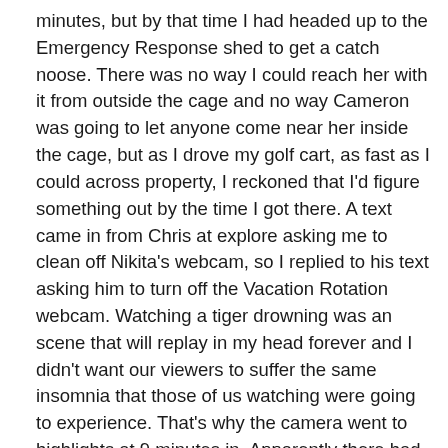minutes, but by that time I had headed up to the Emergency Response shed to get a catch noose. There was no way I could reach her with it from outside the cage and no way Cameron was going to let anyone come near her inside the cage, but as I drove my golf cart, as fast as I could across property, I reckoned that I'd figure something out by the time I got there. A text came in from Chris at explore asking me to clean off Nikita's webcam, so I replied to his text asking him to turn off the Vacation Rotation webcam. Watching a tiger drowning was an scene that will replay in my head forever and I didn't want our viewers to suffer the same insomnia that those of us watching were going to experience. That's why the camera went to highlights at 9 minutes in. Apparently there had been no one at the wheel, so they had not captured any of the horrific images, during the 9 minutes.
Meanwhile, Jamie called me and asked me to take over...